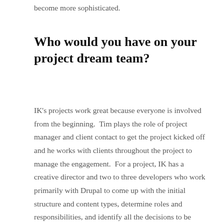become more sophisticated.
Who would you have on your project dream team?
IK's projects work great because everyone is involved from the beginning.  Tim plays the role of project manager and client contact to get the project kicked off and he works with clients throughout the project to manage the engagement.  For a project, IK has a creative director and two to three developers who work primarily with Drupal to come up with the initial structure and content types, determine roles and responsibilities, and identify all the decisions to be made early on in the project.  Tim brings in contractors for more specialized skills, such as work with motion